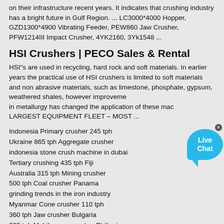on their infrastructure recent years. It indicates that crushing industry has a bright future in Gulf Region. ... LC3000*4000 Hopper, GZD1300*4900 Vibrating Feeder, PEW860 Jaw Crusher, PFW1214III Impact Crusher, 4YK2160, 3Yk1548 ...
HSI Crushers | PECO Sales & Rental
HSI"s are used in recycling, hard rock and soft materials. In earlier years the practical use of HSI crushers is limited to soft materials and non abrasive materials, such as limestone, phosphate, gypsum, weathered shales, however improvements in metallurgy has changed the application of these mac LARGEST EQUIPMENT FLEET – MOST ...
Indonesia Primary crusher 245 tph
Ukraine 865 tph Aggregate crusher
indonesia stone crush machine in dubai
Tertiary crushing 435 tph Fiji
Australia 315 tph Mining crusher
500 tph Coal crusher Panama
grinding trends in the iron industry
Myanmar Cone crusher 110 tph
360 tph Jaw crusher Bulgaria
635 tph Mobile cone crusher Philippines
Sand crusher 250 tph El Salvador
high energy ball milling nanoparticles
high manganese steel jaw plate for jaw crusher